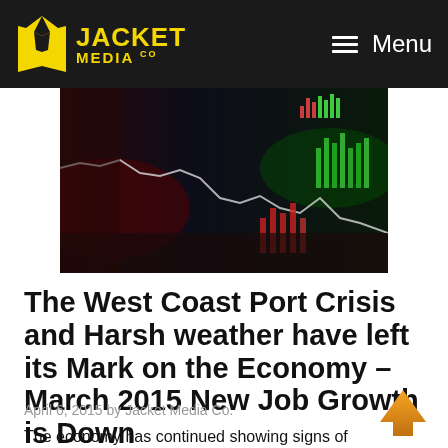JACKET MEDIA CO — Menu
[Figure (photo): Stock market trading screen showing a line chart with candlestick-style bars and data visualizations, dark background with red and green highlights]
The West Coast Port Crisis and Harsh weather have left its Mark on the Economy – March 2015 New Job Growth is Down
April 6, 2015 by Jacket Media Co.
The economy has continued showing signs of